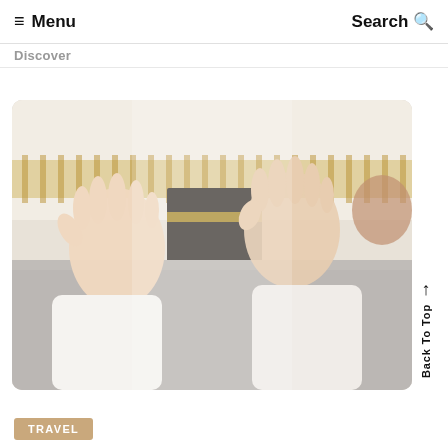≡ Menu   Search Q
Discover
[Figure (photo): Person in white robe praying with open hands raised toward the Kaaba at Masjid al-Haram in Mecca, surrounded by crowds of pilgrims]
Back To Top
TRAVEL